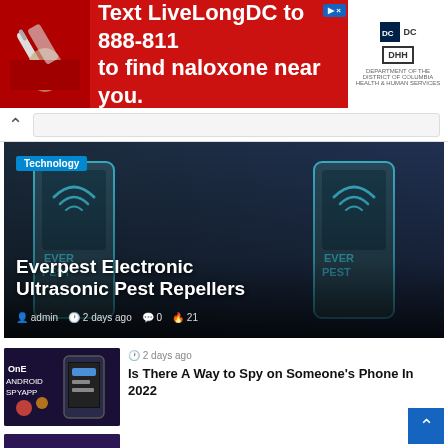[Figure (screenshot): Red advertisement banner: Text LiveLongDC to 888-811 to find naloxone near you. DC government logos on right.]
[Figure (screenshot): Navigation bar with back caret and search bar]
[Figure (photo): Hero image of Everpest Electronic Ultrasonic Pest Repellers product with dark background]
Technology
Everpest Electronic Ultrasonic Pest Repellers
admin  2 days ago  0  21
[Figure (screenshot): Thumbnail for spy app article showing Android phone with spy app interface]
2 days ago
Is There A Way to Spy on Someone's Phone In 2022
[Figure (screenshot): Thumbnail showing Best VPN for Chrome with shield and Google Chrome logo]
5 days ago
VPN Browsers Extensions: Why You Shouldn't Use Them?
[Figure (photo): Thumbnail showing woman near a car for auto warranty article]
1 week ago
How To Read Auto Warranty